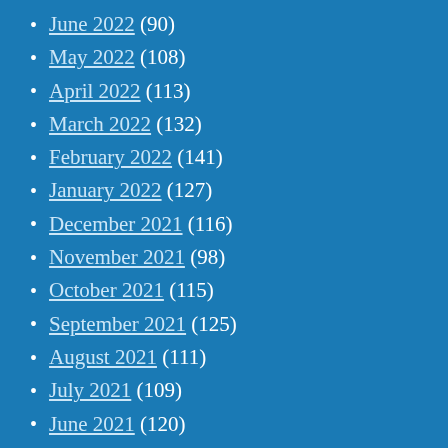June 2022 (90)
May 2022 (108)
April 2022 (113)
March 2022 (132)
February 2022 (141)
January 2022 (127)
December 2021 (116)
November 2021 (98)
October 2021 (115)
September 2021 (125)
August 2021 (111)
July 2021 (109)
June 2021 (120)
May 2021 (112)
April 2021 (89)
March 2021 (109)
February 2021 (126)